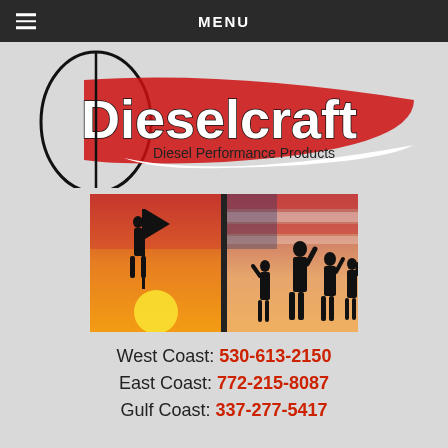MENU
[Figure (logo): Dieselcraft Diesel Performance Products logo with oval frame, large stylized text and red/white swoosh design]
[Figure (photo): Two-panel patriotic image: left panel shows silhouette of soldier holding American flag at sunset with sun on horizon; right panel shows silhouettes of multiple soldiers saluting against an American flag background]
West Coast: 530-613-2150
East Coast: 772-215-8087
Gulf Coast: 337-277-5417